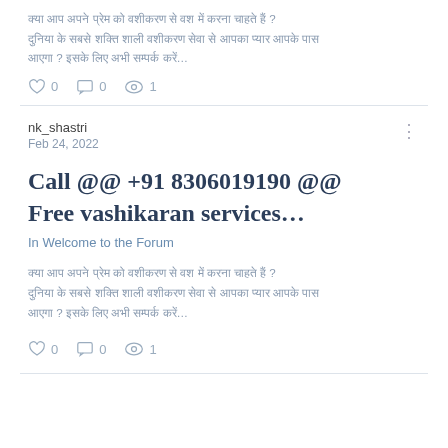क्या आप अपने प्रेम को वशीकरण से वश में करना चाहते हैं ? दुनिया के सबसे शक्ति शाली वशीकरण सेवा से आपका प्यार आपके पास आएगा ? इसके लिए अभी सम्पर्क करें…
♡ 0   ☐ 0   ◎ 1
nk_shastri
Feb 24, 2022
Call @@ +91 8306019190 @@ Free vashikaran services…
In Welcome to the Forum
क्या आप अपने प्रेम को वशीकरण से वश में करना चाहते हैं ? दुनिया के सबसे शक्ति शाली वशीकरण सेवा से आपका प्यार आपके पास आएगा ? इसके लिए अभी सम्पर्क करें…
♡ 0   ☐ 0   ◎ 1